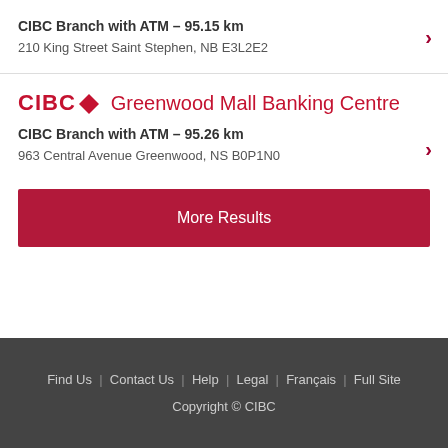CIBC Branch with ATM – 95.15 km
210 King Street Saint Stephen, NB E3L2E2
CIBC Greenwood Mall Banking Centre
CIBC Branch with ATM – 95.26 km
963 Central Avenue Greenwood, NS B0P1N0
More Results
Share
Find Us | Contact Us | Help | Legal | Français | Full Site
Copyright © CIBC